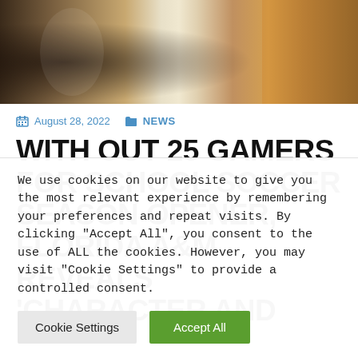[Figure (photo): Sports photo showing football players in orange and white uniforms, hands visible gripping football]
August 28, 2022   NEWS
WITH OUT 25 GAMERS FOR SCHOOL SOCCER SEASON OPENER, FLORIDA A&M REVEALS 'CHARACTER AND
We use cookies on our website to give you the most relevant experience by remembering your preferences and repeat visits. By clicking "Accept All", you consent to the use of ALL the cookies. However, you may visit "Cookie Settings" to provide a controlled consent.